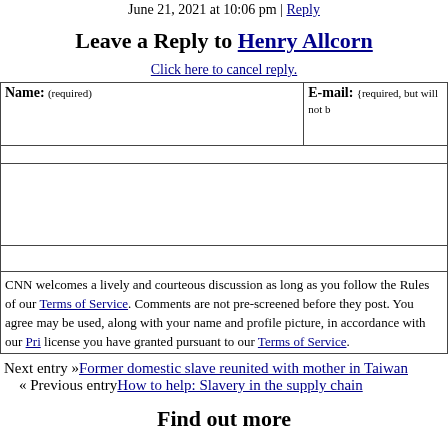June 21, 2021 at 10:06 pm | Reply
Leave a Reply to Henry Allcorn
Click here to cancel reply.
| Name: (required) | E-mail: (required, but will not be published) |
| --- | --- |
|  |  |
|  |  |
|  |  |
CNN welcomes a lively and courteous discussion as long as you follow the Rules of Conduct set forth in our Terms of Service. Comments are not pre-screened before they post. You agree that anything you post may be used, along with your name and profile picture, in accordance with our Privacy Policy and the license you have granted pursuant to our Terms of Service.
Next entry »Former domestic slave reunited with mother in Taiwan
« Previous entryHow to help: Slavery in the supply chain
Find out more